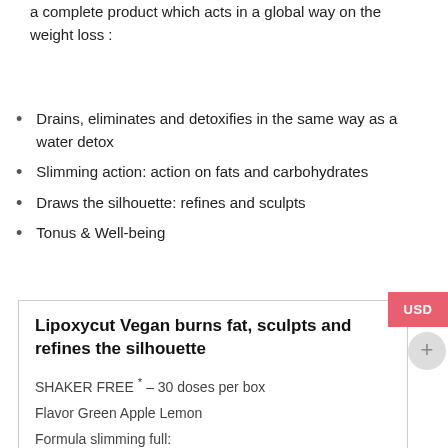The association of 13 active ingredients is at the service of a complete product which acts in a global way on the weight loss :
Drains, eliminates and detoxifies in the same way as a water detox
Slimming action: action on fats and carbohydrates
Draws the silhouette: refines and sculpts
Tonus & Well-being
Lipoxycut Vegan burns fat, sculpts and refines the silhouette
SHAKER FREE * – 30 doses per box
Flavor Green Apple Lemon
Formula slimming full:
Burn fat
Drains detoxifies